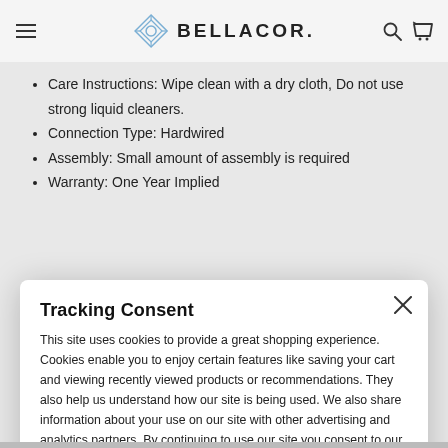BELLACOR.
Care Instructions: Wipe clean with a dry cloth, Do not use strong liquid cleaners.
Connection Type: Hardwired
Assembly: Small amount of assembly is required
Warranty: One Year Implied
Tracking Consent
This site uses cookies to provide a great shopping experience. Cookies enable you to enjoy certain features like saving your cart and viewing recently viewed products or recommendations. They also help us understand how our site is being used. We also share information about your use on our site with other advertising and analytics partners. By continuing to use our site you consent to our use of cookies. See our Privacy Policy for details.
Continue